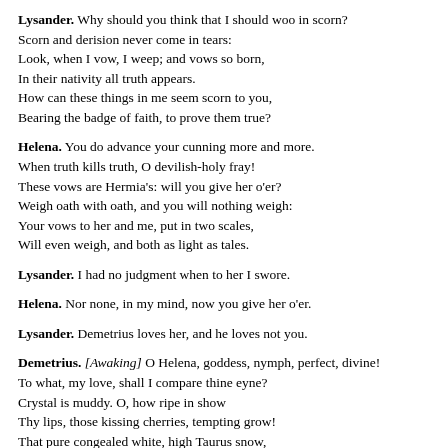Lysander. Why should you think that I should woo in scorn?
Scorn and derision never come in tears:
Look, when I vow, I weep; and vows so born,
In their nativity all truth appears.
How can these things in me seem scorn to you,
Bearing the badge of faith, to prove them true?
Helena. You do advance your cunning more and more.
When truth kills truth, O devilish-holy fray!
These vows are Hermia's: will you give her o'er?
Weigh oath with oath, and you will nothing weigh:
Your vows to her and me, put in two scales,
Will even weigh, and both as light as tales.
Lysander. I had no judgment when to her I swore.
Helena. Nor none, in my mind, now you give her o'er.
Lysander. Demetrius loves her, and he loves not you.
Demetrius. [Awaking] O Helena, goddess, nymph, perfect, divine!
To what, my love, shall I compare thine eyne?
Crystal is muddy. O, how ripe in show
Thy lips, those kissing cherries, tempting grow!
That pure congealed white, high Taurus snow,
Fann'd with the eastern wind, turns to a crow
When thou hold'st up thy hand: O, let me kiss